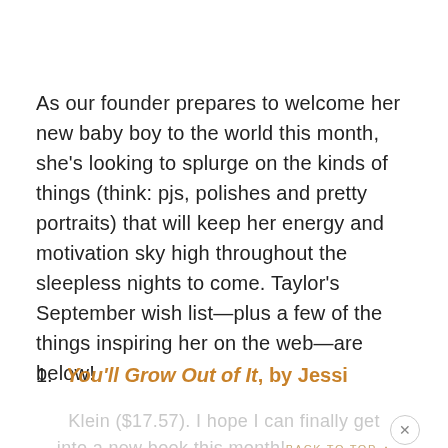As our founder prepares to welcome her new baby boy to the world this month, she's looking to splurge on the kinds of things (think: pjs, polishes and pretty portraits) that will keep her energy and motivation sky high throughout the sleepless nights to come. Taylor's September wish list—plus a few of the things inspiring her on the web—are below!
You'll Grow Out of It, by Jessi Klein ($17.57). I hope I can finally get into a new book this month!